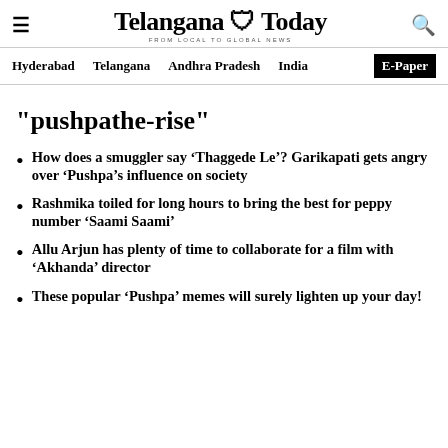Telangana Today — FROM LOCAL TO GLOBAL NEWS
Hyderabad | Telangana | Andhra Pradesh | India | E-Paper
"pushpathe-rise"
How does a smuggler say ‘Thaggede Le’? Garikapati gets angry over ‘Pushpa’s influence on society
Rashmika toiled for long hours to bring the best for peppy number ‘Saami Saami’
Allu Arjun has plenty of time to collaborate for a film with ‘Akhanda’ director
These popular ‘Pushpa’ memes will surely lighten up your day!